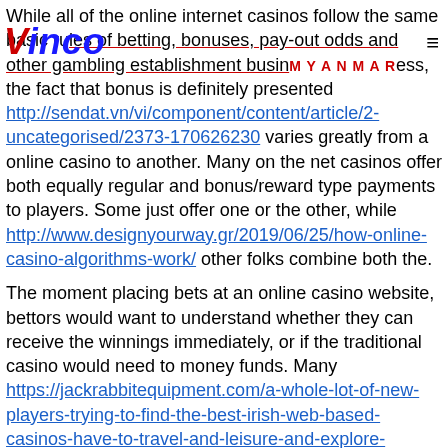[Figure (logo): Vinco logo in blue bold italic text with red 'V']
While all of the online internet casinos follow the same basic rules of betting, bonuses, pay-out odds and other gambling establishment business, the fact that bonus is definitely presented http://sendat.vn/vi/component/content/article/2-uncategorised/2373-170626230 varies greatly from a online casino to another. Many on the net casinos offer both equally regular and bonus/reward type payments to players. Some just offer one or the other, while http://www.designyourway.gr/2019/06/25/how-online-casino-algorithms-work/ other folks combine both the.

The moment placing bets at an online casino website, bettors would want to understand whether they can receive the winnings immediately, or if the traditional casino would need to money funds. Many https://jackrabbitequipment.com/a-whole-lot-of-new-players-trying-to-find-the-best-irish-web-based-casinos-have-to-travel-and-leisure-and-explore-unique-sites-just-to-find-out-which-is-actually-the-very-best-you-will-discover-man/ internet casinos offer speedy withdrawal options at no cost to the player. For a few, this characteristic would be